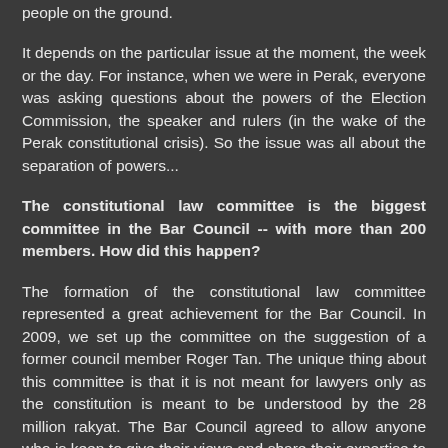people on the ground.
It depends on the particular issue at the moment, the week or the day. For instance, when we were in Perak, everyone was asking questions about the powers of the Election Commission, the speaker and rulers (in the wake of the Perak constitutional crisis). So the issue was all about the separation of powers...
The constitutional law committee is the biggest committee in the Bar Council -- with more than 200 members. How did this happen?
The formation of the constitutional law committee represented a great achievement for the Bar Council. In 2009, we set up the committee on the suggestion of a former council member Roger Tan. The unique thing about this committee is that it is not meant for lawyers only as the constitution is meant to be understood by the 28 million rakyat. The Bar Council agreed to allow anyone who is keen to give their views and share their expertise to join the committee. Even journalists and activists can be members. You don't need to be a lawyer or a council member. We have